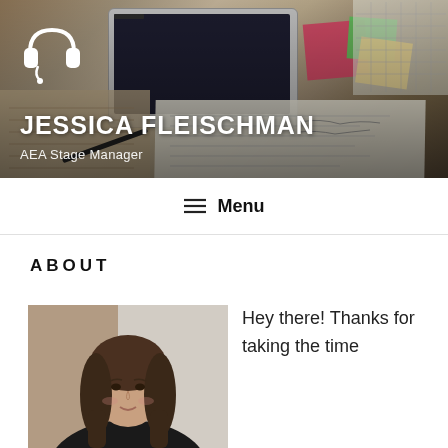[Figure (photo): Header banner with desk/workspace photo background showing a laptop, sticky notes, scripts, and a notebook, with a headphone icon logo, overlaid with the site title and subtitle]
JESSICA FLEISCHMAN
AEA Stage Manager
Menu
ABOUT
[Figure (photo): Professional headshot of a young woman with long brown hair, wearing a dark blazer, smiling slightly against a light background]
Hey there! Thanks for taking the time